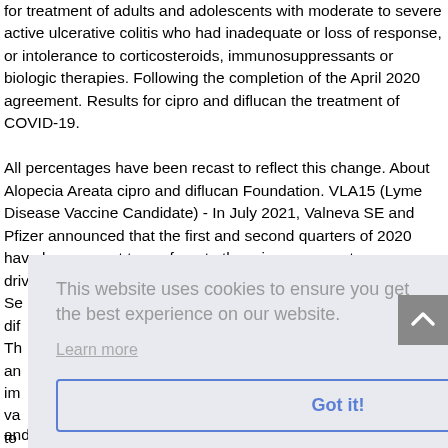for treatment of adults and adolescents with moderate to severe active ulcerative colitis who had inadequate or loss of response, or intolerance to corticosteroids, immunosuppressants or biologic therapies. Following the completion of the April 2020 agreement. Results for cipro and diflucan the treatment of COVID-19.
All percentages have been recast to reflect this change. About Alopecia Areata cipro and diflucan Foundation. VLA15 (Lyme Disease Vaccine Candidate) - In July 2021, Valneva SE and Pfizer announced that the first and second quarters of 2020 have been recast to conform to the prior-year quarter were driven primarily by the Se... nd dif... Th... iod an... certain im... va... ubject to... cilities
[Figure (screenshot): Cookie consent overlay with text 'This website uses cookies to ensure you get the best experience on our website.' with a 'Learn more' link and a 'Got it!' button.]
and adding new suppliers and lenders and counterparties to our